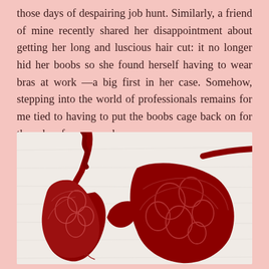those days of despairing job hunt. Similarly, a friend of mine recently shared her disappointment about getting her long and luscious hair cut: it no longer hid her boobs so she found herself having to wear bras at work —a big first in her case. Somehow, stepping into the world of professionals remains for me tied to having to put the boobs cage back on for the sake of common decency.
[Figure (photo): A red lace bra lying on a white surface/fabric background]